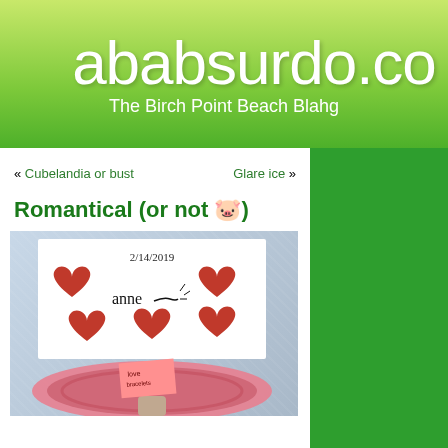ababsurdo.co — The Birch Point Beach Blahg
« Cubelandia or bust    Glare ice »
Romantical (or not 🐷)
[Figure (photo): Valentine's Day photo showing a handmade card dated 2/14/2019 signed 'Anne' with red hearts, and a pink heart-shaped dish holding a small pink note, on a speckled surface.]